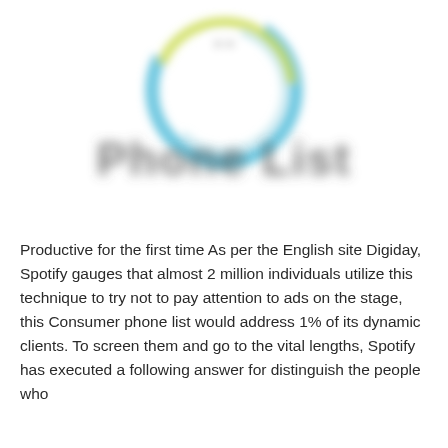[Figure (logo): A blurred circular logo with blue and yellow-green swirling arcs around a central white robot/figure icon, with large bold blurred text below reading what appears to be a company name (Phone List or similar)]
Productive for the first time As per the English site Digiday, Spotify gauges that almost 2 million individuals utilize this technique to try not to pay attention to ads on the stage, this Consumer phone list would address 1% of its dynamic clients. To screen them and go to the vital lengths, Spotify has executed a following answer for distinguish the people who